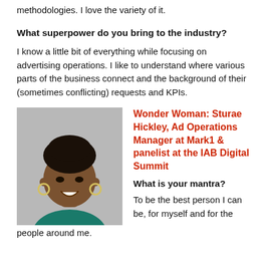methodologies. I love the variety of it.
What superpower do you bring to the industry?
I know a little bit of everything while focusing on advertising operations. I like to understand where various parts of the business connect and the background of their (sometimes conflicting) requests and KPIs.
[Figure (photo): Portrait photo of Sturae Hickley, a woman with braided hair, hoop earrings, and a teal top, smiling against a grey background.]
Wonder Woman: Sturae Hickley, Ad Operations Manager at Mark1 & panelist at the IAB Digital Summit
What is your mantra?
To be the best person I can be, for myself and for the people around me.